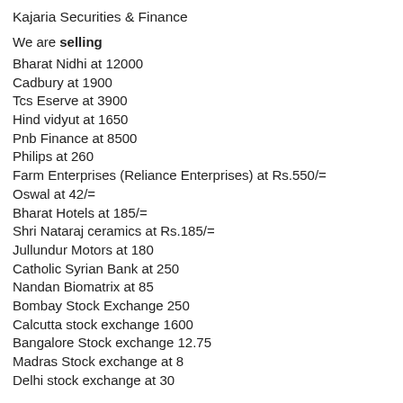Kajaria Securities & Finance
We are selling
Bharat Nidhi at 12000
Cadbury at 1900
Tcs Eserve at 3900
Hind vidyut at 1650
Pnb Finance at 8500
Philips at 260
Farm Enterprises (Reliance Enterprises) at Rs.550/=
Oswal at 42/=
Bharat Hotels at 185/=
Shri Nataraj ceramics at Rs.185/=
Jullundur Motors at 180
Catholic Syrian Bank at 250
Nandan Biomatrix at 85
Bombay Stock Exchange 250
Calcutta stock exchange 1600
Bangalore Stock exchange 12.75
Madras Stock exchange at 8
Delhi stock exchange at 30